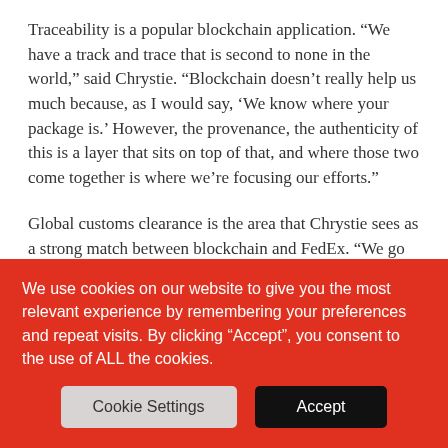Traceability is a popular blockchain application. “We have a track and trace that is second to none in the world,” said Chrystie. “Blockchain doesn’t really help us much because, as I would say, ‘We know where your package is.’ However, the provenance, the authenticity of this is a layer that sits on top of that, and where those two come together is where we’re focusing our efforts.”
Global customs clearance is the area that Chrystie sees as a strong match between blockchain and FedEx. “We go to 200 plus countries and right now when we go from one country across a border to another, in many cases that item is called something different,” Chrystie explained. “People are speaking both literally and figuratively different
We use cookies on our website to give you the most relevant experience by remembering your preferences and repeat visits. By clicking “Accept”, you consent to the use of ALL the cookies.